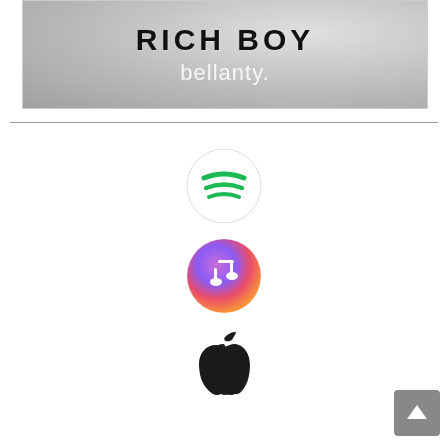[Figure (illustration): Album cover banner with text 'RICH BOY' in bold black and 'bellanty.' in white/grey on a grey textured background]
[Figure (logo): Spotify logo - green circular icon with three white curved lines]
[Figure (logo): iTunes / Apple Music logo - circular icon with colorful gradient background and music note]
[Figure (logo): Apple logo - black apple with leaf silhouette]
[Figure (other): Back-to-top button - grey square with upward arrow]